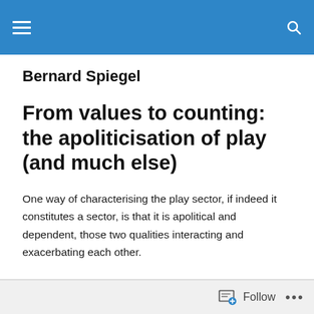Bernard Spiegel — site navigation header with menu and search
Bernard Spiegel
From values to counting: the apoliticisation of play (and much else)
One way of characterising the play sector, if indeed it constitutes a sector, is that it is apolitical and dependent, those two qualities interacting and exacerbating each other.
Follow ...